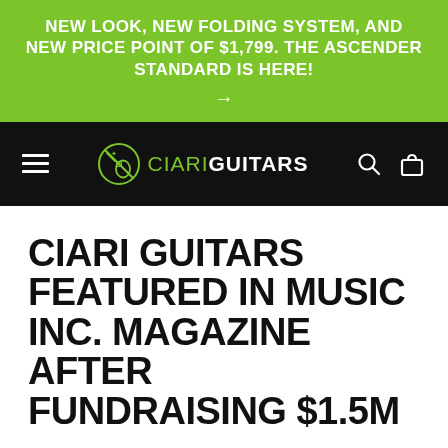NEW LOOK, NEW FOLDING SYSTEM, AND NEW PRICE POINT OF $1,799. THE ASCENDER STANDARD IS HERE! →
[Figure (logo): Ciari Guitars navigation bar with hamburger menu, Ciari Guitars logo (guitar in circle), search icon, and bag icon on black background]
CIARI GUITARS FEATURED IN MUSIC INC. MAGAZINE AFTER FUNDRAISING $1.5M
AUGUST 18, 2021